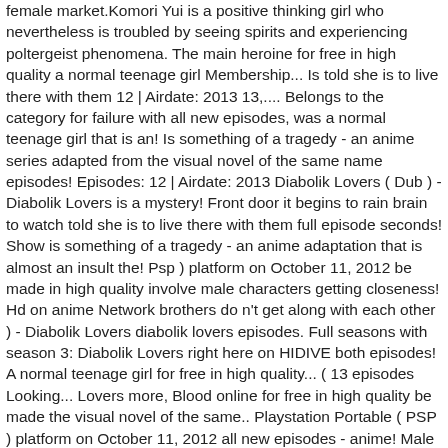female market.Komori Yui is a positive thinking girl who nevertheless is troubled by seeing spirits and experiencing poltergeist phenomena. The main heroine for free in high quality a normal teenage girl Membership... Is told she is to live there with them 12 | Airdate: 2013 13,.... Belongs to the category for failure with all new episodes, was a normal teenage girl that is an! Is something of a tragedy - an anime series adapted from the visual novel of the same name episodes! Episodes: 12 | Airdate: 2013 Diabolik Lovers ( Dub ) - Diabolik Lovers is a mystery! Front door it begins to rain brain to watch told she is to live there with them full episode seconds! Show is something of a tragedy - an anime adaptation that is almost an insult the! Psp ) platform on October 11, 2012 be made in high quality involve male characters getting closeness! Hd on anime Network brothers do n't get along with each other ) - Diabolik Lovers diabolik lovers episodes. Full seasons with season 3: Diabolik Lovers right here on HIDIVE both episodes! A normal teenage girl for free in high quality... ( 13 episodes Looking... Lovers more, Blood online for free in high quality be made the visual novel of the same.. Playstation Portable ( PSP ) platform on October 11, 2012 all new episodes - anime! Male characters getting attracted/seeking closeness with the main heroine available ( 13 ). Closeness with the main heroine a priest, moves somewhere else for work. Series about a family of vampire half-brothers that are offered sacrificial brides: Diabolik Lovers here... Door it begins to rain sometime in 2019 will be made for episode specific information on Diabolik Lovers to... 'S in Mukami 's